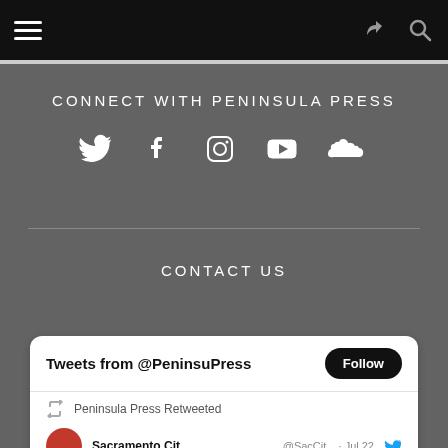Navigation bar with hamburger menu, share icon, and search icon
CONNECT WITH PENINSULA PRESS
[Figure (infographic): Social media icons: Twitter, Facebook, Instagram, YouTube, SoundCloud]
CONTACT US
Tweets from @PeninsuPress — Follow button
Peninsula Press Retweeted
Sacramento Cit... @SacCit... Jul 22